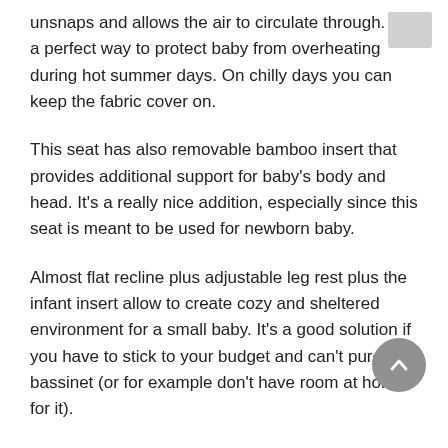unsnaps and allows the air to circulate through. It's a perfect way to protect baby from overheating during hot summer days. On chilly days you can keep the fabric cover on.
This seat has also removable bamboo insert that provides additional support for baby's body and head. It's a really nice addition, especially since this seat is meant to be used for newborn baby.
Almost flat recline plus adjustable leg rest plus the infant insert allow to create cozy and sheltered environment for a small baby. It's a good solution if you have to stick to your budget and can't purchase bassinet (or for example don't have room at home for it).